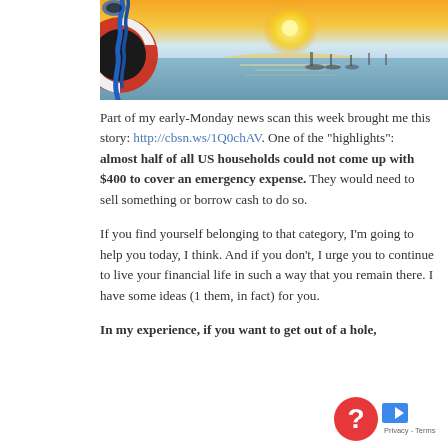[Figure (photo): Photograph of a marina at sunset with a life preserver ring with blue rope on the left side and boats moored in the background]
Part of my early-Monday news scan this week brought me this story: http://cbsn.ws/1Q0chAV. One of the “highlights”: almost half of all US households could not come up with $400 to cover an emergency expense. They would need to sell something or borrow cash to do so.
If you find yourself belonging to that category, I’m going to help you today, I think. And if you don’t, I urge you to continue to live your financial life in such a way that you remain there. I have some ideas (1 them, in fact) for you.
In my experience, if you want to get out of a hole,